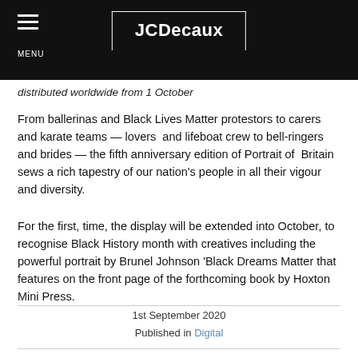MENU | JCDecaux
distributed worldwide from 1 October
From ballerinas and Black Lives Matter protestors to carers and karate teams — lovers  and lifeboat crew to bell-ringers and brides — the fifth anniversary edition of Portrait of  Britain sews a rich tapestry of our nation's people in all their vigour and diversity.
For the first, time, the display will be extended into October, to recognise Black History month with creatives including the powerful portrait by Brunel Johnson 'Black Dreams Matter that features on the front page of the forthcoming book by Hoxton Mini Press.
1st September 2020
Published in Digital